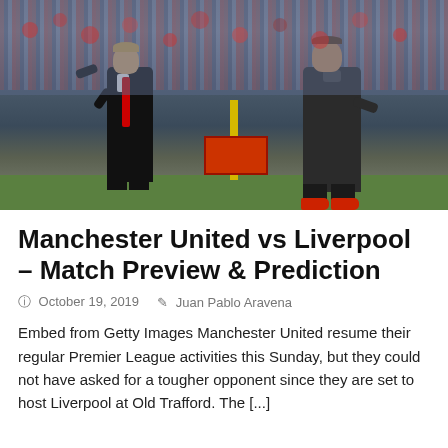[Figure (photo): Two football managers standing on the sideline of a football pitch, likely at Old Trafford. The crowd fills the background stands. One manager on the left wears a dark suit with red tie, the other on the right wears a dark tracksuit with red shoes. A yellow post and drink crates are visible in the background.]
Manchester United vs Liverpool – Match Preview & Prediction
October 19, 2019   Juan Pablo Aravena
Embed from Getty Images Manchester United resume their regular Premier League activities this Sunday, but they could not have asked for a tougher opponent since they are set to host Liverpool at Old Trafford. The [...]